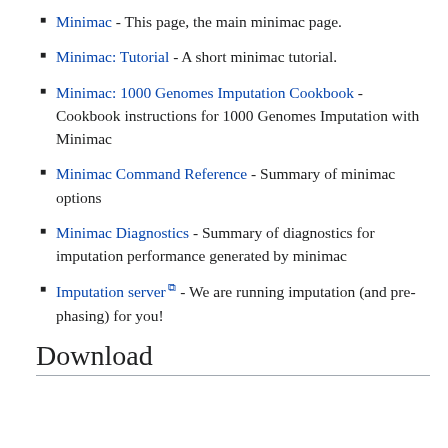Minimac - This page, the main minimac page.
Minimac: Tutorial - A short minimac tutorial.
Minimac: 1000 Genomes Imputation Cookbook - Cookbook instructions for 1000 Genomes Imputation with Minimac
Minimac Command Reference - Summary of minimac options
Minimac Diagnostics - Summary of diagnostics for imputation performance generated by minimac
Imputation server ↗ - We are running imputation (and pre-phasing) for you!
Download